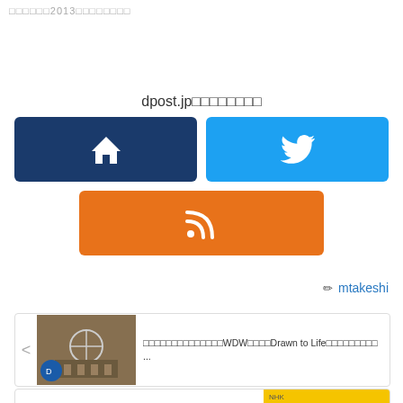□□□□□□2013□□□□□□□□
dpost.jp□□□□□□□□
[Figure (infographic): Three social/navigation buttons: dark navy home button, blue Twitter button, orange RSS button]
✏ mtakeshi
[Figure (screenshot): Article card with Disney stage image and Japanese text about WDW Drawn to Life]
[Figure (screenshot): Article card with yellow banner showing 伝説をいま and Japanese text]